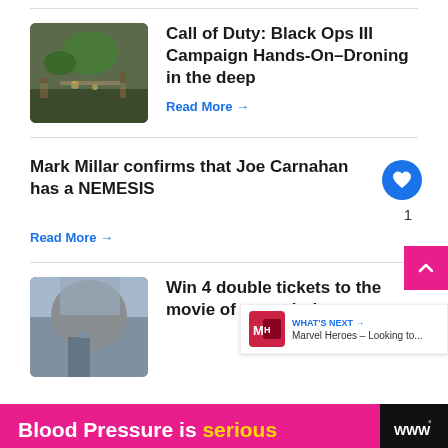Call of Duty: Black Ops III Campaign Hands-On–Droning in the deep
Read More →
Mark Millar confirms that Joe Carnahan has a NEMESIS
Read More →
Win 4 double tickets to the movie of your choice
Blood Pressure is serious
WHAT'S NEXT → Marvel Heroes – Looking to...